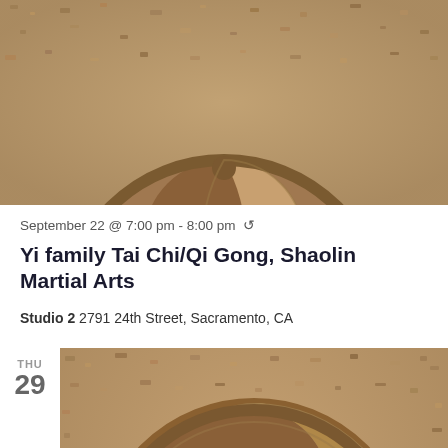[Figure (photo): Close-up of a yin-yang symbol carved in stone/wood relief, partially cropped, showing the top circular portion against a rough textured sandy background]
September 22 @ 7:00 pm - 8:00 pm ↺
Yi family Tai Chi/Qi Gong, Shaolin Martial Arts
Studio 2 2791 24th Street, Sacramento, CA
THU
29
[Figure (photo): Full yin-yang symbol carved in stone/wood relief, centered in the frame, against a rough textured sandy stone background — larger and fuller view than the top image]